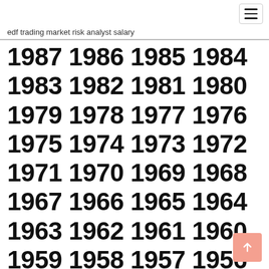☰
edf trading market risk analyst salary
1987 1986 1985 1984 1983 1982 1981 1980 1979 1978 1977 1976 1975 1974 1973 1972 1971 1970 1969 1968 1967 1966 1965 1964 1963 1962 1961 1960 1959 1958 1957 1956 1955
Current exchange rate BRITISH POUND (GBP) to US DOLLAR (USD) including currency converter, buying & selling rate and historical conversion chart. View current exchange rates for the pair US Dollar and Pound Sterling. Currency exchange rates updates every day and use average rates based on Trusted International exchange rate. Use Currency converter to calculate any amount of USD to GBP exchange rate with compare tables, history chart.